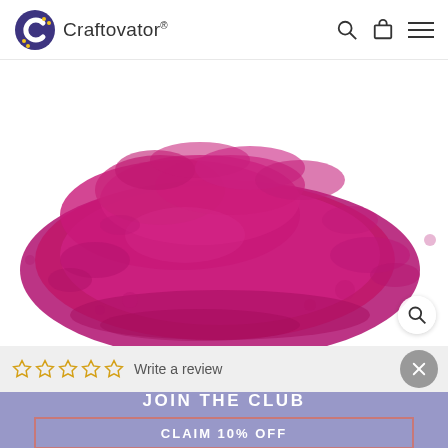Craftovator®
[Figure (photo): Close-up photo of loose magenta/fuchsia pink powder pigment on white background]
Write a review
JOIN THE CLUB
CLAIM 10% OFF